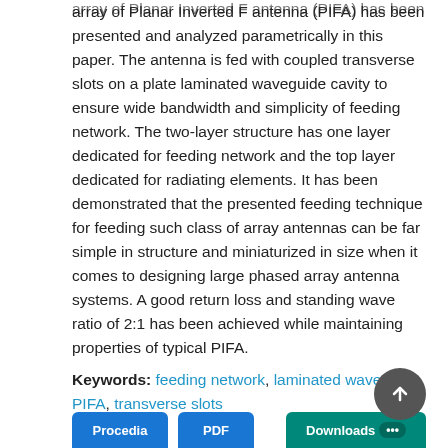array of Planar Inverted F antenna (PIFA) has been presented and analyzed parametrically in this paper. The antenna is fed with coupled transverse slots on a plate laminated waveguide cavity to ensure wide bandwidth and simplicity of feeding network. The two-layer structure has one layer dedicated for feeding network and the top layer dedicated for radiating elements. It has been demonstrated that the presented feeding technique for feeding such class of array antennas can be far simple in structure and miniaturized in size when it comes to designing large phased array antenna systems. A good return loss and standing wave ratio of 2:1 has been achieved while maintaining properties of typical PIFA.
Keywords: feeding network, laminated waveguide, PIFA, transverse slots